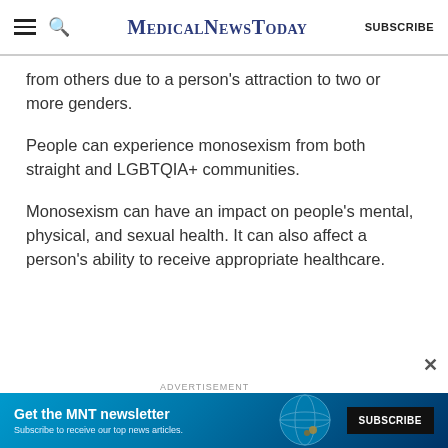MedicalNewsToday | SUBSCRIBE
from others due to a person's attraction to two or more genders.
People can experience monosexism from both straight and LGBTQIA+ communities.
Monosexism can have an impact on people's mental, physical, and sexual health. It can also affect a person's ability to receive appropriate healthcare.
ADVERTISEMENT
Get the MNT newsletter
Subscribe to receive our top news articles.
SUBSCRIBE